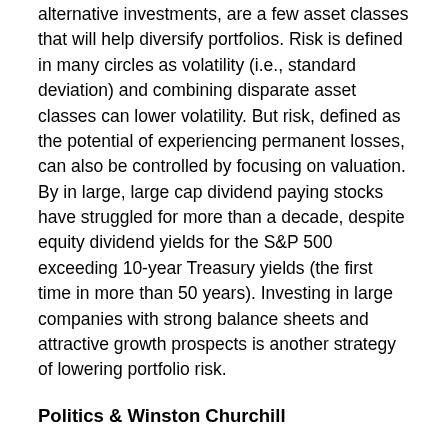alternative investments, are a few asset classes that will help diversify portfolios. Risk is defined in many circles as volatility (i.e., standard deviation) and combining disparate asset classes can lower volatility. But risk, defined as the potential of experiencing permanent losses, can also be controlled by focusing on valuation. By in large, large cap dividend paying stocks have struggled for more than a decade, despite equity dividend yields for the S&P 500 exceeding 10-year Treasury yields (the first time in more than 50 years). Investing in large companies with strong balance sheets and attractive growth prospects is another strategy of lowering portfolio risk.
Politics & Winston Churchill
Some factors however are out of shareholders hands, such as politics. As we know from last year's debt ceiling